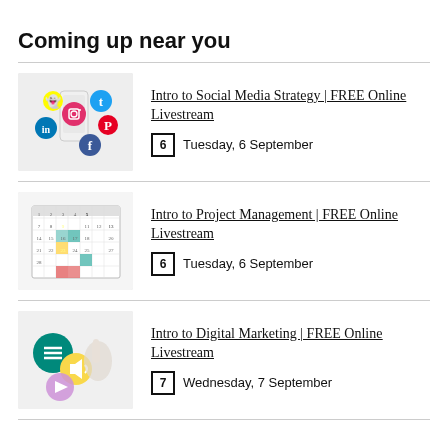Coming up near you
Intro to Social Media Strategy | FREE Online Livestream
Tuesday, 6 September
Intro to Project Management | FREE Online Livestream
Tuesday, 6 September
Intro to Digital Marketing | FREE Online Livestream
Wednesday, 7 September